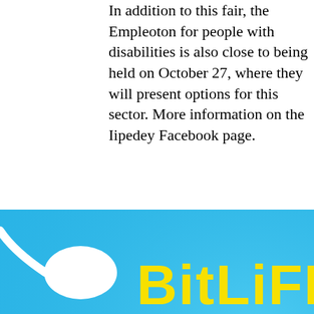In addition to this fair, the Empleoton for people with disabilities is also close to being held on October 27, where they will present options for this sector. More information on the Iipedey Facebook page.
[Figure (screenshot): BitLife advertisement banner with colorful rainbow background, emoji characters, sperm mascot, and text 'WHEN REAL LIFE IS QUARANTINED'. Close button (X) visible in top right. A cookie consent popup is partially visible on the right side.]